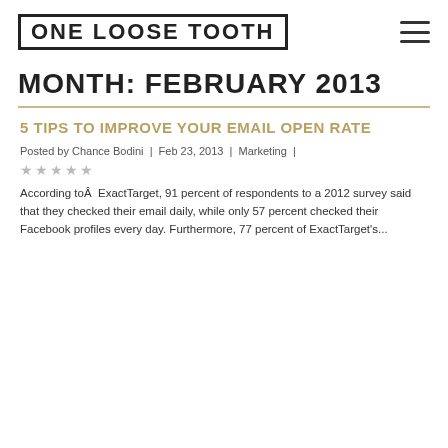ONE LOOSE TOOTH
MONTH: FEBRUARY 2013
5 TIPS TO IMPROVE YOUR EMAIL OPEN RATE
Posted by Chance Bodini | Feb 23, 2013 | Marketing |
★★★★★
According to  ExactTarget, 91 percent of respondents to a 2012 survey said that they checked their email daily, while only 57 percent checked their Facebook profiles every day. Furthermore, 77 percent of ExactTarget's...